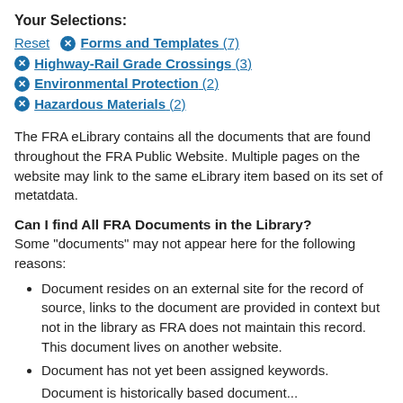Your Selections:
Reset  ✕ Forms and Templates (7)  ✕ Highway-Rail Grade Crossings (3)  ✕ Environmental Protection (2)  ✕ Hazardous Materials (2)
The FRA eLibrary contains all the documents that are found throughout the FRA Public Website. Multiple pages on the website may link to the same eLibrary item based on its set of metatdata.
Can I find All FRA Documents in the Library?
Some "documents" may not appear here for the following reasons:
Document resides on an external site for the record of source, links to the document are provided in context but not in the library as FRA does not maintain this record. This document lives on another website.
Document has not yet been assigned keywords.
Document is historically based document...